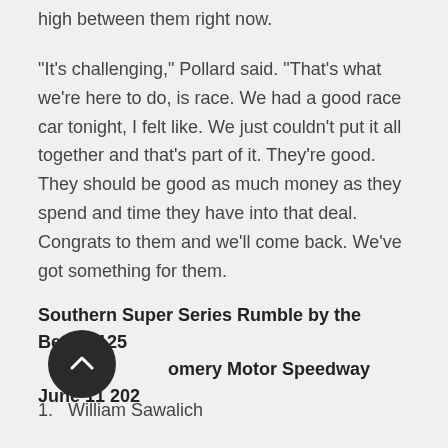high between them right now.
"It's challenging," Pollard said. "That's what we're here to do, is race. We had a good race car tonight, I felt like. We just couldn't put it all together and that's part of it. They're good. They should be good as much money as they spend and time they have into that deal. Congrats to them and we'll come back. We've got something for them.
Southern Super Series Rumble by the Beach 125
Montgomery Motor Speedway
June 11 202
1.  William Sawalich